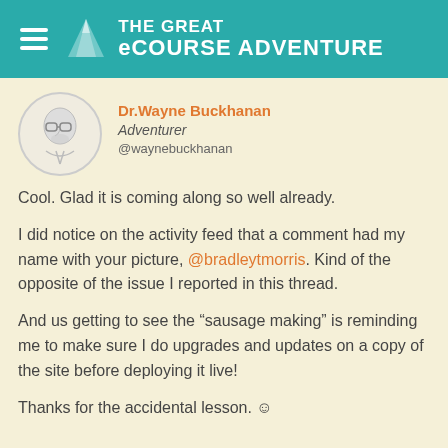THE GREAT eCOURSE ADVENTURE
Dr.Wayne Buckhanan
Adventurer
@waynebuckhanan
Cool. Glad it is coming along so well already.
I did notice on the activity feed that a comment had my name with your picture, @bradleytmorris. Kind of the opposite of the issue I reported in this thread.
And us getting to see the “sausage making” is reminding me to make sure I do upgrades and updates on a copy of the site before deploying it live!
Thanks for the accidental lesson. ☺